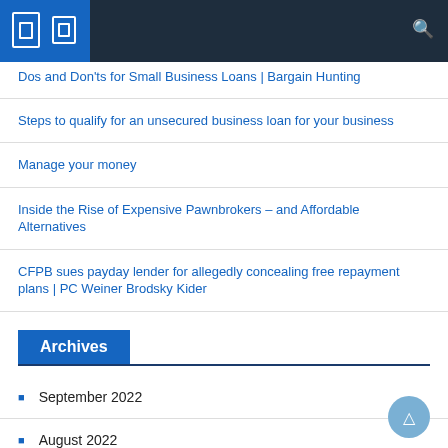Navigation bar
Dos and Don'ts for Small Business Loans | Bargain Hunting
Steps to qualify for an unsecured business loan for your business
Manage your money
Inside the Rise of Expensive Pawnbrokers – and Affordable Alternatives
CFPB sues payday lender for allegedly concealing free repayment plans | PC Weiner Brodsky Kider
Archives
September 2022
August 2022
July 2022